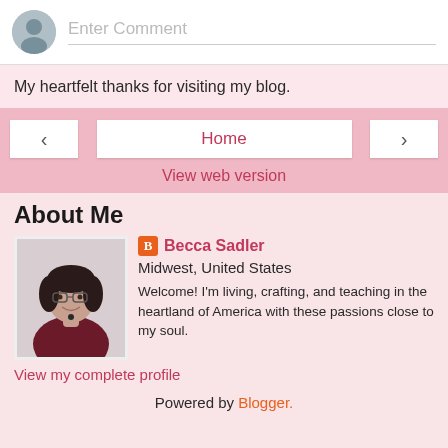[Figure (screenshot): Comment input box with a gray avatar circle on the left and placeholder text 'Enter Comment' on the right]
My heartfelt thanks for visiting my blog.
[Figure (screenshot): Navigation bar with left arrow button, Home button, right arrow button, and 'View web version' link]
About Me
[Figure (photo): Profile photo of Becca Sadler, a woman with dark hair and glasses wearing a dark red jacket]
Becca Sadler
Midwest, United States
Welcome! I'm living, crafting, and teaching in the heartland of America with these passions close to my soul.
View my complete profile
Powered by Blogger.